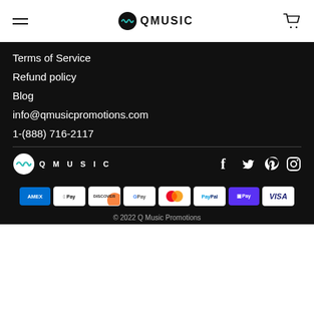QMUSIC
Terms of Service
Refund policy
Blog
info@qmusicpromotions.com
1-(888) 716-2117
[Figure (logo): Q Music logo and social media icons (Facebook, Twitter, Pinterest, Instagram)]
[Figure (infographic): Payment method badges: Amex, Apple Pay, Discover, Google Pay, Mastercard, PayPal, Shop Pay, Visa]
© 2022 Q Music Promotions